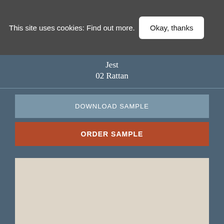This site uses cookies: Find out more.
Okay, thanks
Jest
02 Rattan
DOWNLOAD SAMPLE
ORDER SAMPLE
[Figure (other): Light beige/tan fabric or material sample swatch image]